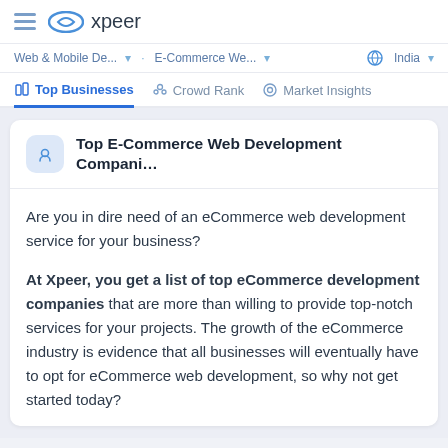xpeer
Web & Mobile De... · E-Commerce We... · India
Top Businesses · Crowd Rank · Market Insights
Top E-Commerce Web Development Compani...
Are you in dire need of an eCommerce web development service for your business?
At Xpeer, you get a list of top eCommerce development companies that are more than willing to provide top-notch services for your projects. The growth of the eCommerce industry is evidence that all businesses will eventually have to opt for eCommerce web development, so why not get started today?